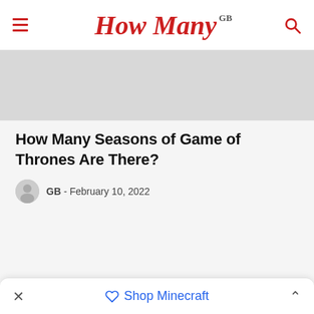How Many GB
[Figure (photo): Light grey hero/banner image placeholder area]
How Many Seasons of Game of Thrones Are There?
GB - February 10, 2022
Shop Minecraft